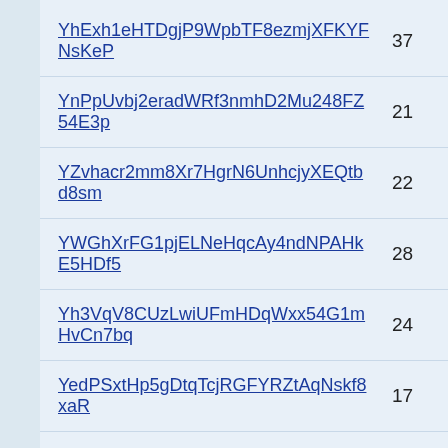YhExh1eHTDgjP9WpbTF8ezmjXFKYFNsKeP  37
YnPpUvbj2eradWRf3nmhD2Mu248FZ54E3p  21
YZvhacr2mm8Xr7HgrN6UnhcjyXEQtbd8sm  22
YWGhXrFG1pjELNeHqcAy4ndNPAHkE5HDf5  28
Yh3VqV8CUzLwiUFmHDqWxx54G1mHvCn7bq  24
YedPSxtHp5gDtqTcjRGFYRZtAqNskf8xaR  17
YWHwrTcNFN9xC4FrtLxEEyh4W3kFc49x3C  22
YRxQstGacTByLUyvtjntW7kPjXDxTyCDPR  17